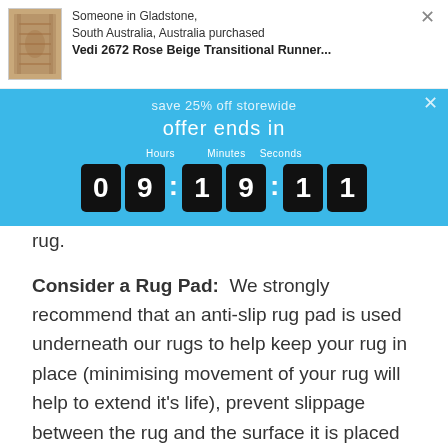[Figure (screenshot): Notification popup showing a rug product thumbnail (Vedi 2672 Rose Beige Transitional Runner) with text 'Someone in Gladstone, South Australia, Australia purchased Vedi 2672 Rose Beige Transitional Runner...' and a close button.]
[Figure (screenshot): Blue countdown banner with text partially visible including 'save 25% off storewide', 'offer ends in', and a digital countdown timer showing Hours: 09, Minutes: 19, Seconds: 11. Also shows partial text 'RPAVION S...le ...ith couP...checkout) -' overlaid.]
rug.
Consider a Rug Pad:  We strongly recommend that an anti-slip rug pad is used underneath our rugs to help keep your rug in place (minimising movement of your rug will help to extend it's life), prevent slippage between the rug and the surface it is placed on, and also to add an extra layer of comfort and insulation. Click here to view our range of rug pads.
Please Note: This item cannot be delivered to a PO